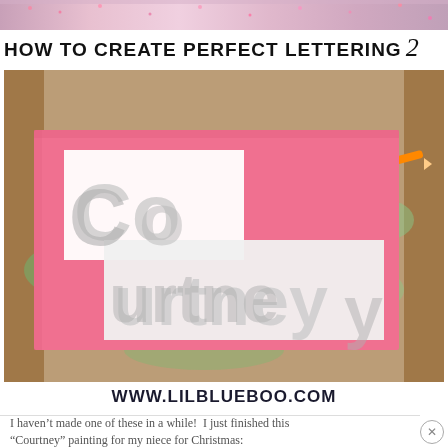[Figure (photo): Top strip showing a crafting/art supply background with pink and glitter]
HOW TO CREATE PERFECT LETTERING 2
[Figure (photo): Photo of a pink canvas board with white cut-out letters spelling 'Courtney' on a painted craft table surface with art supplies]
www.lilblueboo.com
I haven't made one of these in a while!  I just finished this "Courtney" painting for my niece for Christmas: